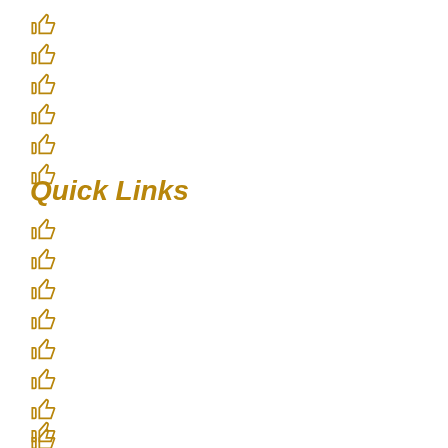👍
👍
👍
👍
👍
👍
Quick Links
👍
👍
👍
👍
👍
👍
👍
👍
👍
👍